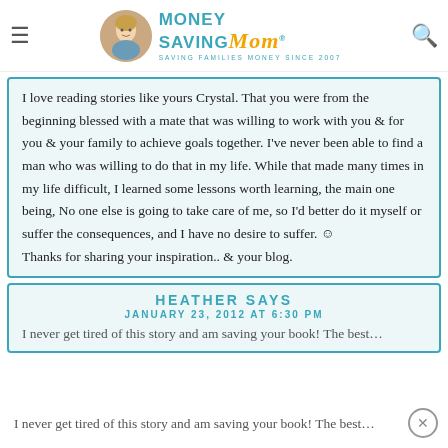Money Saving Mom® — SAVING FAMILIES MONEY SINCE 2007
I love reading stories like yours Crystal. That you were from the beginning blessed with a mate that was willing to work with you & for you & your family to achieve goals together. I've never been able to find a man who was willing to do that in my life. While that made many times in my life difficult, I learned some lessons worth learning, the main one being, No one else is going to take care of me, so I'd better do it myself or suffer the consequences, and I have no desire to suffer. ☺ Thanks for sharing your inspiration.. & your blog.
HEATHER SAYS
JANUARY 23, 2012 AT 6:30 PM
I never get tired of this story and am saving your book! The best…